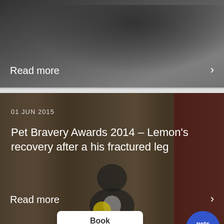[Figure (photo): Partial view of a dark cat lying on bedding, top portion of a card]
Read more
[Figure (photo): Black and white cat sitting on a surface with a yellow ball and wooden fence background]
01 JUN 2015
Pet Bravery Awards 2014 – Lemon's recovery after a his fractured leg
Read more
Book appointment
[Figure (logo): Pets app circular blue logo]
01 JUN 2015